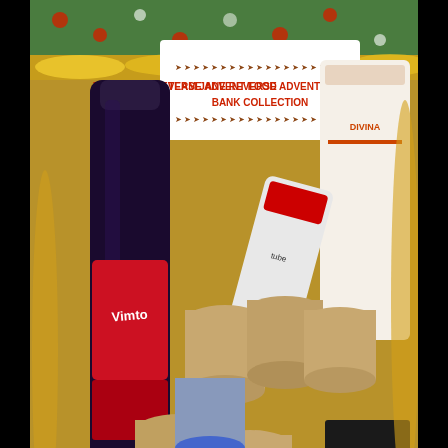[Figure (photo): A photo of a food bank donation collection. Various canned goods, a bottle of dark fizzy drink (Vimto), bags of pasta/rice, and other grocery items are arranged on gold tinsel. A sign in the background reads 'TEAM JANE REVERSE ADVENT FOOD BANK COLLECTION' with decorative arrows.]
Privacy & Cookies: This site uses cookies. By continuing to use this
We use cookies to ensure that we give you the best experience on our website. If you continue to use this site we will assume that you are happy with it.